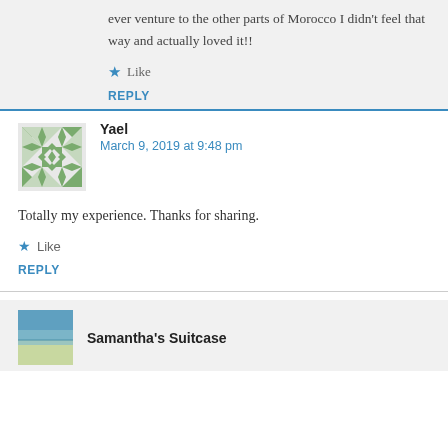ever venture to the other parts of Morocco I didn't feel that way and actually loved it!!
Like
REPLY
Yael
March 9, 2019 at 9:48 pm
Totally my experience. Thanks for sharing.
Like
REPLY
Samantha's Suitcase